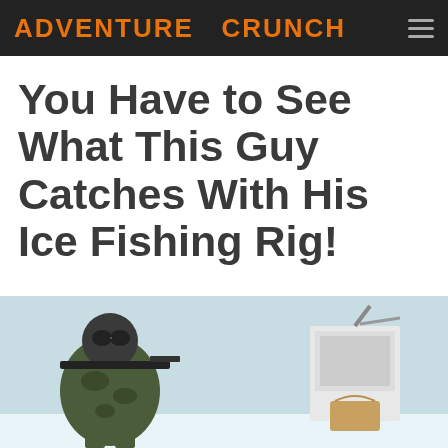ADVENTURE CRUNCH
You Have to See What This Guy Catches With His Ice Fishing Rig!
[Figure (photo): Person in camouflage gear and mask with ice fishing equipment on a frozen lake or ice surface, with equipment visible on the right side]